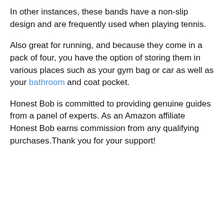In other instances, these bands have a non-slip design and are frequently used when playing tennis.
Also great for running, and because they come in a pack of four, you have the option of storing them in various places such as your gym bag or car as well as your bathroom and coat pocket.
Honest Bob is committed to providing genuine guides from a panel of experts. As an Amazon affiliate Honest Bob earns commission from any qualifying purchases.Thank you for your support!